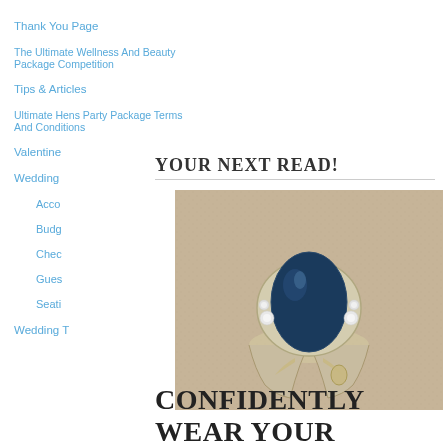Thank You Page
The Ultimate Wellness And Beauty Package Competition
Tips & Articles
Ultimate Hens Party Package Terms And Conditions
Valentine
Wedding
Acco
Budg
Chec
Gues
Seati
Wedding T
YOUR NEXT READ!
[Figure (photo): A silver ring with a large teardrop-shaped dark blue gemstone flanked by small diamonds, resting on textured fabric]
CONFIDENTLY WEAR YOUR